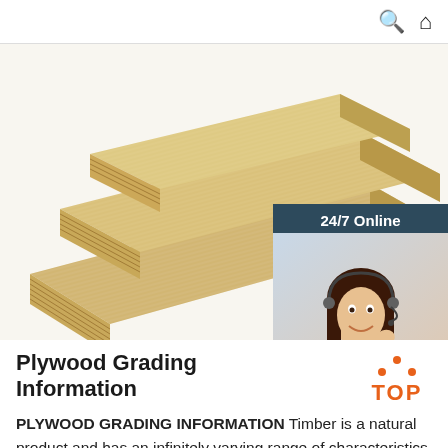Search | Home
[Figure (photo): Stacked plywood sheets showing cross-section layers, natural wood grain visible on top surface and edges, light tan/cream color. Alongside a customer service representative widget showing '24/7 Online' header, a woman with headset smiling, 'Click here for free chat!' text, and orange QUOTATION button.]
Plywood Grading Information
PLYWOOD GRADING INFORMATION Timber is a natural product and has an infinitely varying range of characteristics